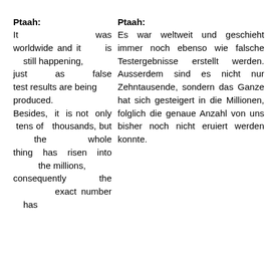Ptaah:
It was worldwide and it is still happening, just as false test results are being produced. Besides, it is not only tens of thousands, but the whole thing has risen into the millions, consequently the exact number has
Ptaah:
Es war weltweit und geschieht immer noch ebenso wie falsche Testergebnisse erstellt werden. Ausserdem sind es nicht nur Zehntausende, sondern das Ganze hat sich gesteigert in die Millionen, folglich die genaue Anzahl von uns bisher noch nicht eruiert werden konnte.